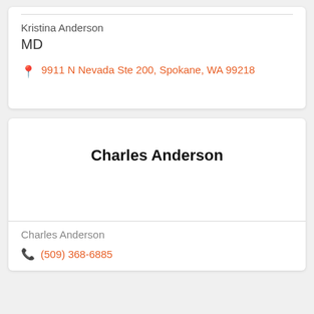Kristina Anderson
MD
9911 N Nevada Ste 200, Spokane, WA 99218
Charles Anderson
Charles Anderson
(509) 368-6885